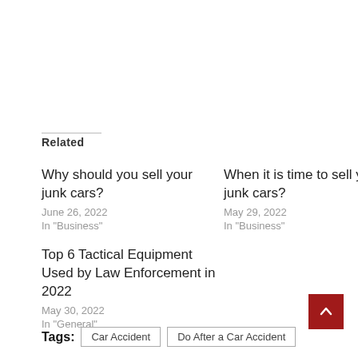Related
Why should you sell your junk cars?
June 26, 2022
In "Business"
When it is time to sell your junk cars?
May 29, 2022
In "Business"
Top 6 Tactical Equipment Used by Law Enforcement in 2022
May 30, 2022
In "General"
Tags: Car Accident  Do After a Car Accident